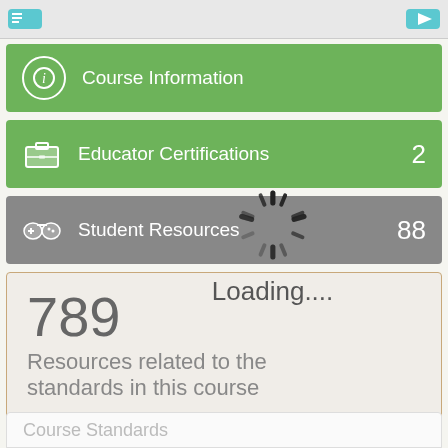[Figure (screenshot): Top navigation bar with teal/blue icons on left and right]
Course Information
Educator Certifications 2
Student Resources 88
[Figure (infographic): Loading spinner overlay with text 'Loading....']
789
Resources related to the standards in this course
Click on the individual standards to find resources
Course Standards